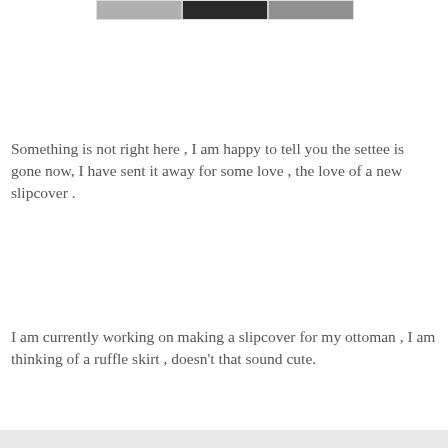[Figure (photo): Partial view of a photo strip showing grayscale images at top of page]
Something is not right here , I am happy to tell you the settee is gone now, I have sent it away for some love , the love of a new slipcover .
I am currently working on making a slipcover for my ottoman , I am thinking of a ruffle skirt , doesn't that sound cute.